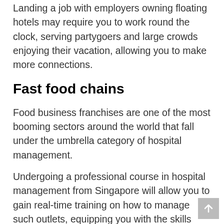Landing a job with employers owning floating hotels may require you to work round the clock, serving partygoers and large crowds enjoying their vacation, allowing you to make more connections.
Fast food chains
Food business franchises are one of the most booming sectors around the world that fall under the umbrella category of hospital management.
Undergoing a professional course in hospital management from Singapore will allow you to gain real-time training on how to manage such outlets, equipping you with the skills required to take up positions within the executive and management